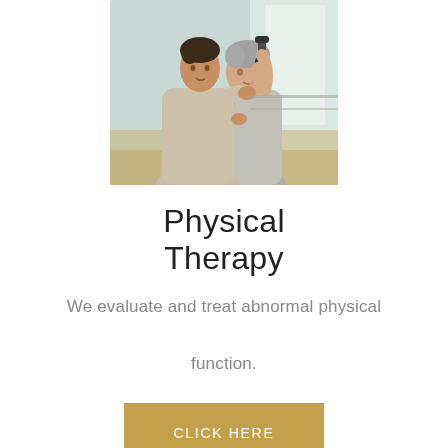[Figure (photo): A younger male physical therapist in a light gray t-shirt assisting an older male patient who is holding a dumbbell and doing rehabilitation exercises, set against a bright background with windows.]
Physical Therapy
We evaluate and treat abnormal physical function.
CLICK HERE